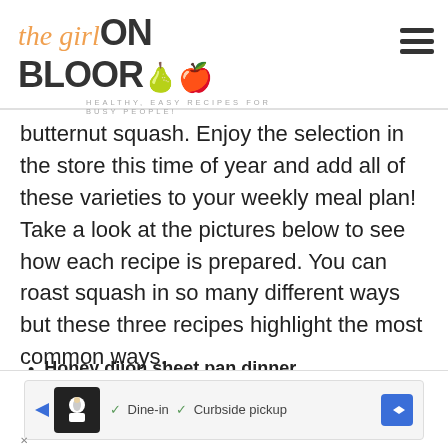the girl ON BLOOR — HEALTHY, EASY RECIPES FOR BUSY PEOPLE!
butternut squash. Enjoy the selection in the store this time of year and add all of these varieties to your weekly meal plan! Take a look at the pictures below to see how each recipe is prepared. You can roast squash in so many different ways but these three recipes highlight the most common ways.
Honey dijon sheet pan dinner
Butternut squash soup
Sausage stuffed squash
[Figure (infographic): Advertisement banner: restaurant logo with Dine-in and Curbside pickup options]